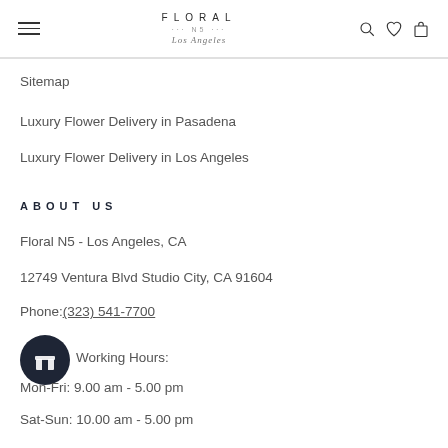FLORAL N5 Los Angeles [logo with hamburger menu, search, wishlist, cart icons]
Sitemap
Luxury Flower Delivery in Pasadena
Luxury Flower Delivery in Los Angeles
ABOUT US
Floral N5 - Los Angeles, CA
12749 Ventura Blvd Studio City, CA 91604
Phone:(323) 541-7700
Working Hours:
Mon-Fri: 9.00 am - 5.00 pm
Sat-Sun: 10.00 am - 5.00 pm